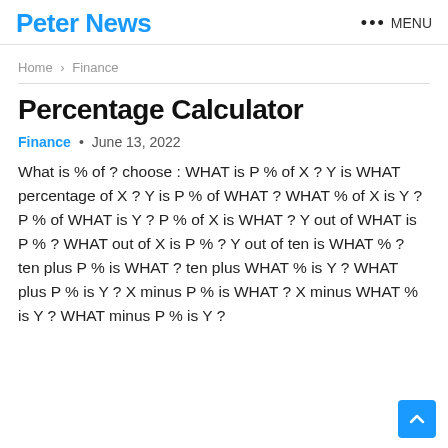Peter News  ••• MENU
Home > Finance
Percentage Calculator
Finance • June 13, 2022
What is % of ? choose : WHAT is P % of X ? Y is WHAT percentage of X ? Y is P % of WHAT ? WHAT % of X is Y ? P % of WHAT is Y ? P % of X is WHAT ? Y out of WHAT is P % ? WHAT out of X is P % ? Y out of ten is WHAT % ? ten plus P % is WHAT ? ten plus WHAT % is Y ? WHAT plus P % is Y ? X minus P % is WHAT ? X minus WHAT % is Y ? WHAT minus P % is Y ?